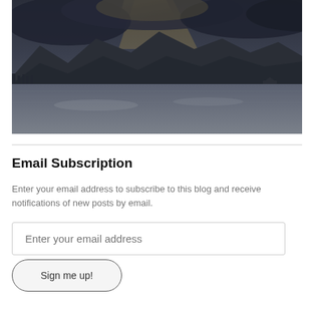[Figure (photo): Dramatic dusk seascape with dark mountains silhouetted against a cloudy sky, calm water in the foreground, and a small boat visible on the right side.]
Email Subscription
Enter your email address to subscribe to this blog and receive notifications of new posts by email.
Enter your email address
Sign me up!